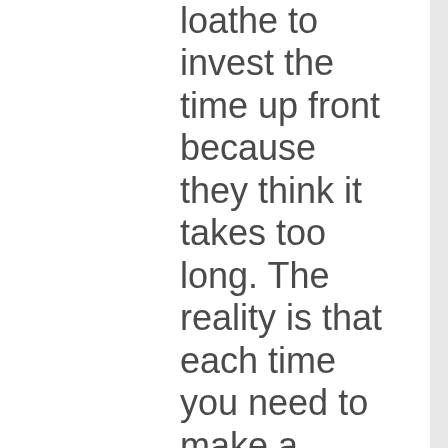loathe to invest the time up front because they think it takes too long. The reality is that each time you need to make a decision about what to do in your business you need to
ook The Seven Signs of a Startup. Se